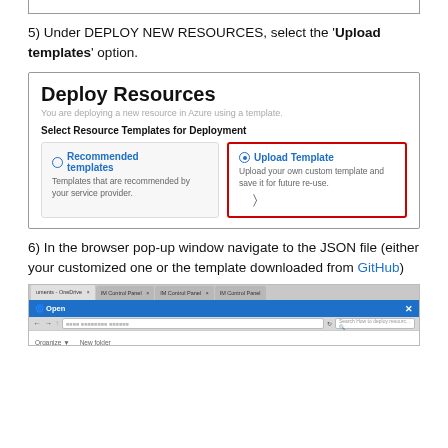[Figure (screenshot): Top border of a boxed UI screenshot (partial, cut off at top of page)]
5) Under DEPLOY NEW RESOURCES, select the 'Upload templates' option.
[Figure (screenshot): Screenshot of a 'Deploy Resources' web UI. Shows 'Deploy Resources' heading, subtitle 'You are deploying a new resource in Azure using a template.', a 'Select Resource Templates for Deployment' label, two option boxes: 'Recommended templates' (radio unselected, 'Templates that are recommended by your service provider.') and 'Upload Template' (radio selected, 'Upload your own custom template and save it for future re-use.' with cursor icon), the Upload Template box is highlighted with a red border.]
6) In the browser pop-up window navigate to the JSON file (either your customized one or the template downloaded from GitHub)
[Figure (screenshot): Partial screenshot of a Windows browser Open file dialog, showing tab bar with multiple 'Control Panel' tabs, a Windows-style 'Open' dialog title bar in blue, navigation bar with back/forward/up buttons and an address bar, and a search bar labeled 'Search How to deploy resourc...']